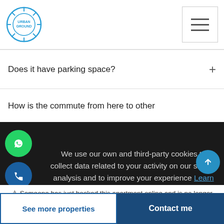Urban Ground logo and navigation menu
Does it have parking space?
How is the commute from here to other
We use our own and third-party cookies to collect data related to your activity on our site for analysis and to improve your experience Learn more
⚠ Someone has just booked this apartment online and is no longer available
See more properties
Contact me